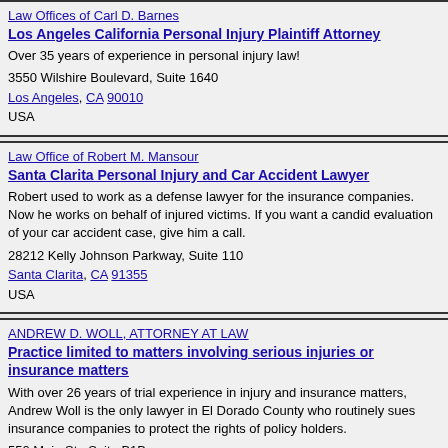Law Offices of Carl D. Barnes
Los Angeles California Personal Injury Plaintiff Attorney
Over 35 years of experience in personal injury law!
3550 Wilshire Boulevard, Suite 1640
Los Angeles, CA 90010
USA
Law Office of Robert M. Mansour
Santa Clarita Personal Injury and Car Accident Lawyer
Robert used to work as a defense lawyer for the insurance companies. Now he works on behalf of injured victims. If you want a candid evaluation of your car accident case, give him a call.
28212 Kelly Johnson Parkway, Suite 110
Santa Clarita, CA 91355
USA
ANDREW D. WOLL, ATTORNEY AT LAW
Practice limited to matters involving serious injuries or insurance matters
With over 26 years of trial experience in injury and insurance matters, Andrew Woll is the only lawyer in El Dorado County who routinely sues insurance companies to protect the rights of policy holders.
550 Main St., Suite B1B
Placerville, CA 95667
USA
Page 1 2 3 4 5 6 7 8 9 10 11 12 13